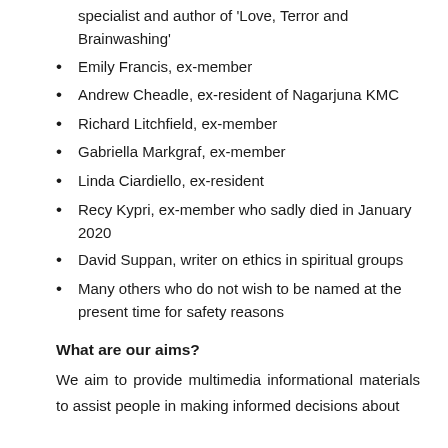specialist and author of 'Love, Terror and Brainwashing'
Emily Francis, ex-member
Andrew Cheadle, ex-resident of Nagarjuna KMC
Richard Litchfield, ex-member
Gabriella Markgraf, ex-member
Linda Ciardiello, ex-resident
Recy Kypri, ex-member who sadly died in January 2020
David Suppan, writer on ethics in spiritual groups
Many others who do not wish to be named at the present time for safety reasons
What are our aims?
We aim to provide multimedia informational materials to assist people in making informed decisions about